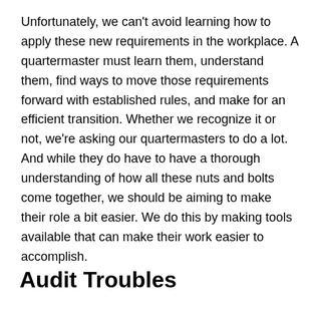Unfortunately, we can't avoid learning how to apply these new requirements in the workplace. A quartermaster must learn them, understand them, find ways to move those requirements forward with established rules, and make for an efficient transition. Whether we recognize it or not, we're asking our quartermasters to do a lot. And while they do have to have a thorough understanding of how all these nuts and bolts come together, we should be aiming to make their role a bit easier. We do this by making tools available that can make their work easier to accomplish.
Audit Troubles